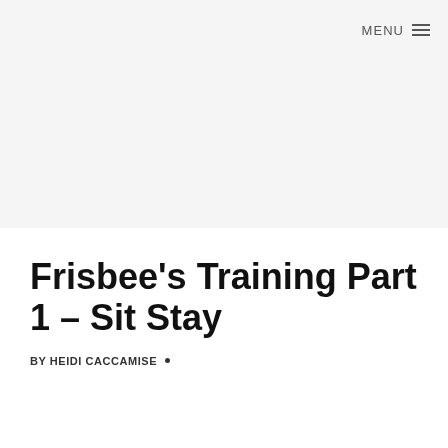MENU
Frisbee's Training Part 1 – Sit Stay
BY HEIDI CACCAMISE •